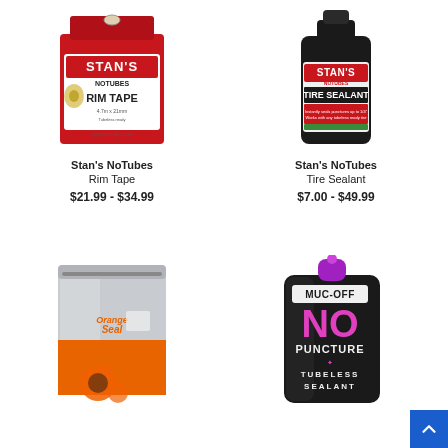[Figure (photo): Stan's NoTubes Rim Tape product box — red and black packaging with yellow rim tape roll visible]
Stan's NoTubes
Rim Tape
$21.99 - $34.99
[Figure (photo): Stan's NoTubes Tire Sealant black bottle with red and white label]
Stan's NoTubes
Tire Sealant
$7.00 - $49.99
[Figure (photo): Orange Seal product in silver resealable bag with orange seal and orange tubeless valve]
[Figure (photo): Muc-Off No Puncture Tubeless Sealant black pouch with purple cap and pink/purple branding]